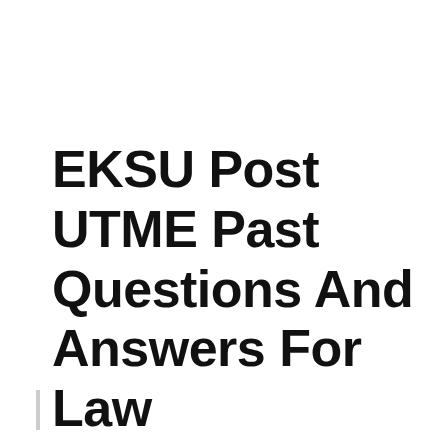EKSU Post UTME Past Questions And Answers For Law
March 3, 2020 by YahwehCalmness Bassey